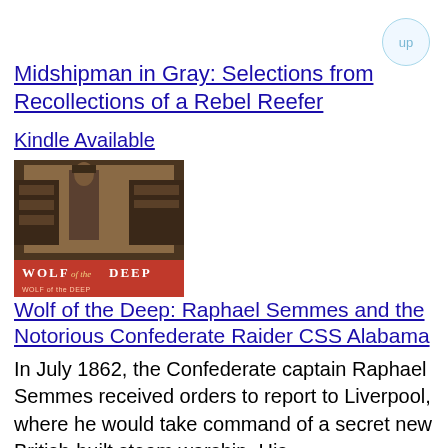Midshipman in Gray: Selections from Recollections of a Rebel Reefer
Kindle Available
[Figure (photo): Book cover image for 'Wolf of the Deep' showing a historical figure standing near machinery, with bold red and white title text at the bottom reading 'WOLF of the DEEP']
Wolf of the Deep: Raphael Semmes and the Notorious Confederate Raider CSS Alabama
In July 1862, the Confederate captain Raphael Semmes received orders to report to Liverpool, where he would take command of a secret new British-built steam warship. His